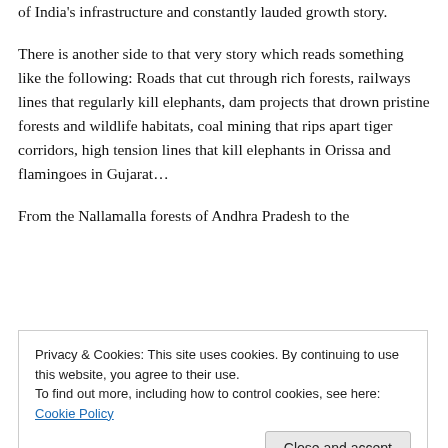of India's infrastructure and constantly lauded growth story.
There is another side to that very story which reads something like the following: Roads that cut through rich forests, railways lines that regularly kill elephants, dam projects that drown pristine forests and wildlife habitats, coal mining that rips apart tiger corridors, high tension lines that kill elephants in Orissa and flamingoes in Gujarat…
From the Nallamalla forests of Andhra Pradesh to the
Privacy & Cookies: This site uses cookies. By continuing to use this website, you agree to their use.
To find out more, including how to control cookies, see here: Cookie Policy
autonomy, power and lifestyles is leaving nothing of the